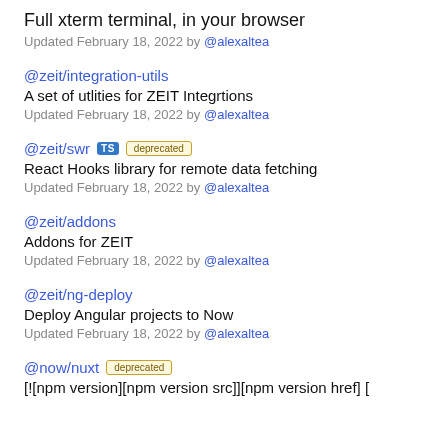Full xterm terminal, in your browser
Updated February 18, 2022 by @alexaltea
@zeit/integration-utils
A set of utlities for ZEIT Integrtions
Updated February 18, 2022 by @alexaltea
@zeit/swr [TS badge] [deprecated badge]
React Hooks library for remote data fetching
Updated February 18, 2022 by @alexaltea
@zeit/addons
Addons for ZEIT
Updated February 18, 2022 by @alexaltea
@zeit/ng-deploy
Deploy Angular projects to Now
Updated February 18, 2022 by @alexaltea
@now/nuxt [deprecated badge]
[![npm version][npm version src]][npm version href] […